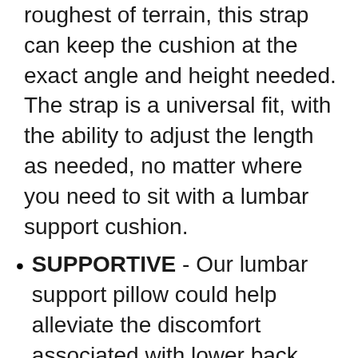roughest of terrain, this strap can keep the cushion at the exact angle and height needed. The strap is a universal fit, with the ability to adjust the length as needed, no matter where you need to sit with a lumbar support cushion.
SUPPORTIVE - Our lumbar support pillow could help alleviate the discomfort associated with lower back soreness, injury, chronic condition, or simply add a little more support for those who sit for long periods at work or drive hours-long